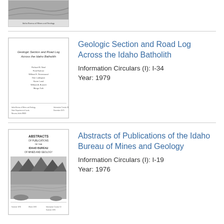[Figure (photo): Partial thumbnail of a document cover at top of page (clipped)]
[Figure (illustration): Thumbnail of 'Geologic Section and Road Log Across the Idaho Batholith' document cover showing title and author names]
Geologic Section and Road Log Across the Idaho Batholith
Information Circulars (I): I-34
Year: 1979
[Figure (illustration): Thumbnail of 'Abstracts of Publications of the Idaho Bureau of Mines and Geology' document cover with landscape photo of trees and lake]
Abstracts of Publications of the Idaho Bureau of Mines and Geology
Information Circulars (I): I-19
Year: 1976